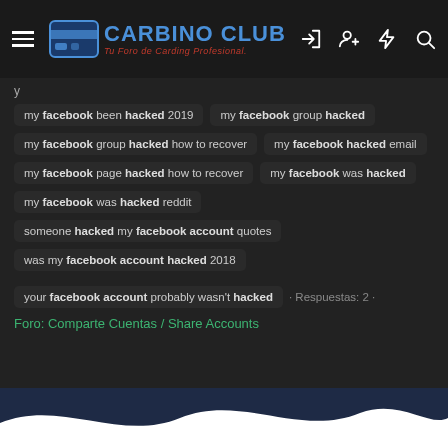CARBINO CLUB — Tu Foro de Carding Profesional
my facebook been hacked 2019
my facebook group hacked
my facebook group hacked how to recover
my facebook hacked email
my facebook page hacked how to recover
my facebook was hacked
my facebook was hacked reddit
someone hacked my facebook account quotes
was my facebook account hacked 2018
your facebook account probably wasn't hacked
· Respuestas: 2 ·
Foro: Comparte Cuentas / Share Accounts
Etiquetas